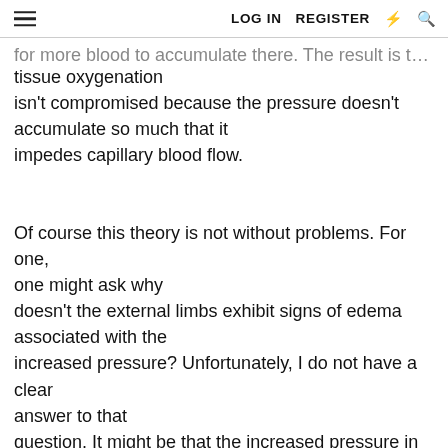LOG IN   REGISTER
for more blood to accumulate there. The result is that tissue oxygenation isn't compromised because the pressure doesn't accumulate so much that it impedes capillary blood flow.
Of course this theory is not without problems. For one, one might ask why doesn't the external limbs exhibit signs of edema associated with the increased pressure? Unfortunately, I do not have a clear answer to that question. It might be that the increased pressure in the venous system is not that great, but when coupled with decreased cardiac output secondary to decreased preload, might be significant enough to impede blood flow long